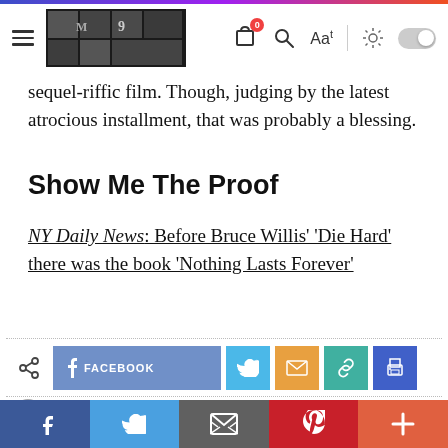Navigation bar with hamburger menu, image, shopping bag icon with badge 0, search icon, Aa font size, sun/toggle controls
sequel-riffic film. Though, judging by the latest atrocious installment, that was probably a blessing.
Show Me The Proof
NY Daily News: Before Bruce Willis' 'Die Hard' there was the book 'Nothing Lasts Forever'
[Figure (infographic): Social share buttons row: share icon, Facebook button, Twitter bird icon button, Email envelope button, Link/chain button, Print button. Separated by dotted lines above and below.]